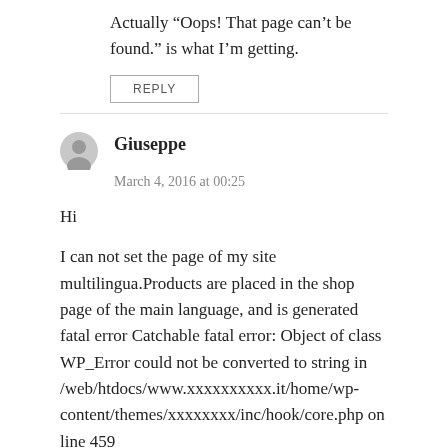Actually “Oops! That page can’t be found.” is what I’m getting.
REPLY
Giuseppe
March 4, 2016 at 00:25
Hi
I can not set the page of my site multilingua.Products are placed in the shop page of the main language, and is generated fatal error Catchable fatal error: Object of class WP_Error could not be converted to string in /web/htdocs/www.xxxxxxxxxx.it/home/wp-content/themes/xxxxxxxx/inc/hook/core.php on line 459